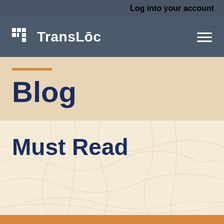Log into your account
[Figure (logo): TransLoc logo with icon and hamburger menu on dark blue-grey navigation bar]
Blog
Must Read